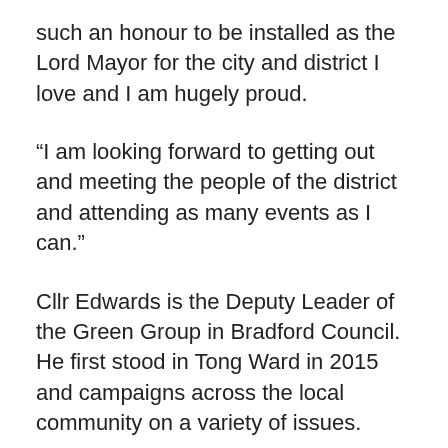such an honour to be installed as the Lord Mayor for the city and district I love and I am hugely proud.
“I am looking forward to getting out and meeting the people of the district and attending as many events as I can.”
Cllr Edwards is the Deputy Leader of the Green Group in Bradford Council. He first stood in Tong Ward in 2015 and campaigns across the local community on a variety of issues.